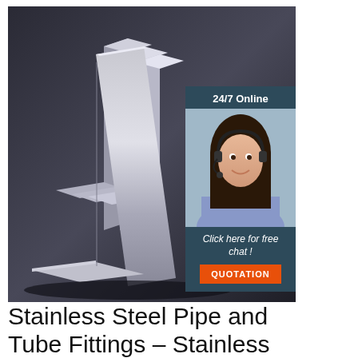[Figure (photo): Stainless steel angle bars/L-shaped metal profiles stacked on a dark background, with a 24/7 online chat widget overlay showing a female customer service representative wearing a headset, and a 'Click here for free chat! QUOTATION' button]
Stainless Steel Pipe and Tube Fittings – Stainless